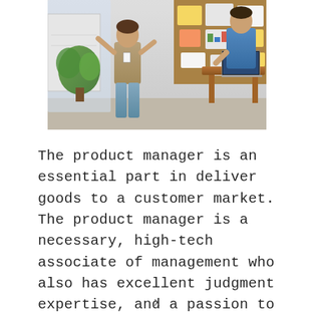[Figure (photo): Office meeting scene with a woman presenting at a board with charts and sticky notes, another person at a desk with a laptop in a bright workspace.]
The product manager is an essential part in deliver goods to a customer market. The product manager is a necessary, high-tech associate of management who also has excellent judgment expertise, and a passion to perform actively. In this topic, we are going to discuss what a product manager is,
x